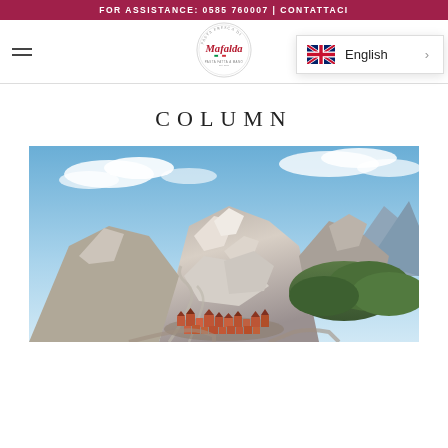FOR ASSISTANCE: 0585 760007 | CONTATTACI
[Figure (logo): Mafalda brand logo with circular design and Italian flag colors]
[Figure (screenshot): Language selector dropdown showing English with UK flag]
COLUMN
[Figure (photo): Aerial photograph of marble quarries in the mountains (Carrara area) with a small village at the base, blue sky with clouds]